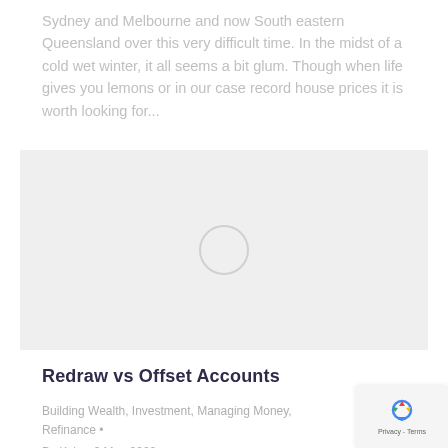Sydney and Melbourne and now South eastern Queensland over this very difficult time. In the midst of a cold wet winter, it all seems a bit glum. Though when life gives you lemons or in our case record house prices it is worth looking for...
[Figure (photo): Loading placeholder image with a spinner circle on a light grey background]
Redraw vs Offset Accounts
Building Wealth, Investment, Managing Money, Refinance • By Kyla • 6 May 2020